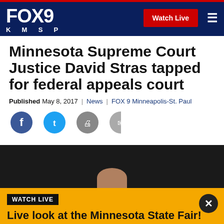[Figure (logo): FOX 9 KMSP logo in white on dark navy navigation bar with red top border, Watch Live red button, and hamburger menu icon]
Minnesota Supreme Court Justice David Stras tapped for federal appeals court
Published May 8, 2017 | News | FOX 9 Minneapolis-St. Paul
[Figure (illustration): Row of four circular social media share icons: Facebook (blue), Twitter (light blue), Print (gray), Email (gray)]
[Figure (photo): Dark background photo showing the top of a person's head, partially visible]
WATCH LIVE
Live look at the Minnesota State Fair!
Watch FOX 9's live camera near the Giant Slide at the Great Minnesota Get-Together.